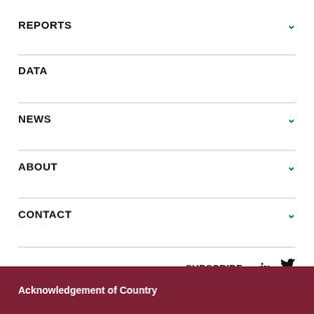REPORTS
DATA
NEWS
ABOUT
CONTACT
SUBSCRIBE
Acknowledgement of Country